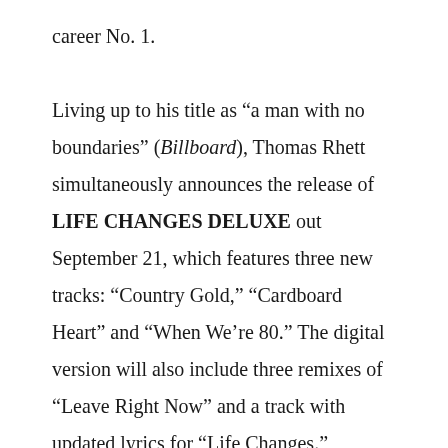career No. 1.

Living up to his title as “a man with no boundaries” (Billboard), Thomas Rhett simultaneously announces the release of LIFE CHANGES DELUXE out September 21, which features three new tracks: “Country Gold,” “Cardboard Heart” and “When We’re 80.” The digital version will also include three remixes of “Leave Right Now” and a track with updated lyrics for “Life Changes.”